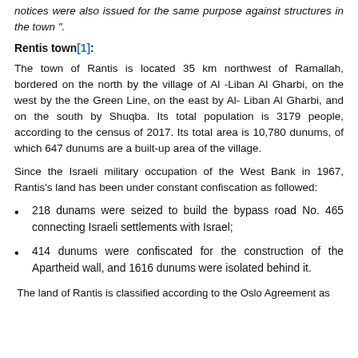notices were also issued for the same purpose against structures in the town ".
Rentis town[1]:
The town of Rantis is located 35 km northwest of Ramallah, bordered on the north by the village of Al -Liban Al Gharbi, on the west by the the Green Line, on the east by Al- Liban Al Gharbi, and on the south by Shuqba. Its total population is 3179 people, according to the census of 2017. Its total area is 10,780 dunums, of which 647 dunums are a built-up area of the village.
Since the Israeli military occupation of the West Bank in 1967, Rantis’s land has been under constant confiscation as followed:
218 dunams were seized to build the bypass road No. 465 connecting Israeli settlements with Israel;
414 dunums were confiscated for the construction of the Apartheid wall, and 1616 dunums were isolated behind it.
The land of Rantis is classified according to the Oslo Agreement as